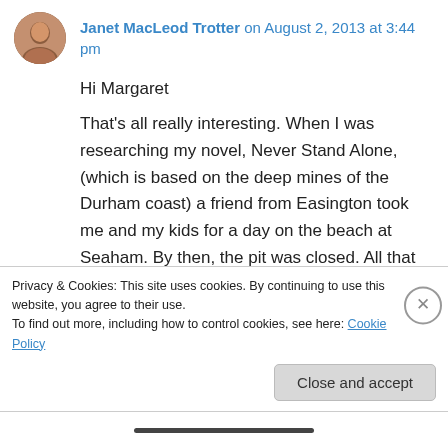Janet MacLeod Trotter on August 2, 2013 at 3:44 pm
Hi Margaret
That’s all really interesting. When I was researching my novel, Never Stand Alone, (which is based on the deep mines of the Durham coast) a friend from Easington took me and my kids for a day on the beach at Seaham. By then, the pit was closed. All that stretch of coast is good for walking and cycling now.
I send greetings from the sunny North East!
Privacy & Cookies: This site uses cookies. By continuing to use this website, you agree to their use.
To find out more, including how to control cookies, see here: Cookie Policy